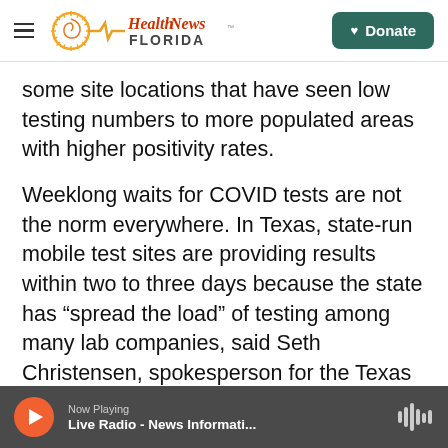Health News Florida — Donate
some site locations that have seen low testing numbers to more populated areas with higher positivity rates.
Weeklong waits for COVID tests are not the norm everywhere. In Texas, state-run mobile test sites are providing results within two to three days because the state has “spread the load” of testing among many lab companies, said Seth Christensen, spokesperson for the Texas Division of Emergency Management. The state does not use Quest but instead uses more than 10 other lab companies, including LabCorp, another of the
Now Playing — Live Radio - News Informati...